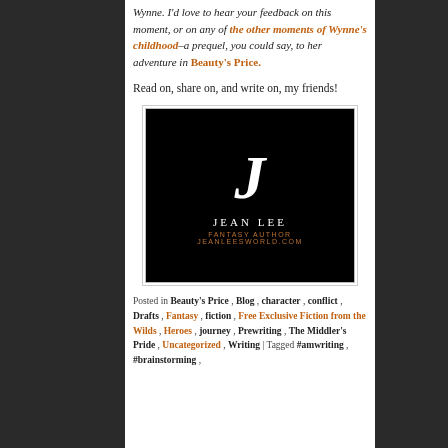Wynne. I'd love to hear your feedback on this moment, or on any of the other moments of Wynne's childhood–a prequel, you could say, to her adventure in Beauty's Price.
Read on, share on, and write on, my friends!
[Figure (logo): Jean Lee author logo: black background with a large white italic J, text JEAN LEE in white, FANTASY AUTHOR and JEANLEESWORLD.COM in orange]
Posted in Beauty's Price , Blog , character , conflict , Drafts , Fantasy , fiction , Free Exclusive Fiction from the Wilds , Heroes , journey , Prewriting , The Middler's Pride , Uncategorized , Writing | Tagged #amwriting , #brainstorming ,